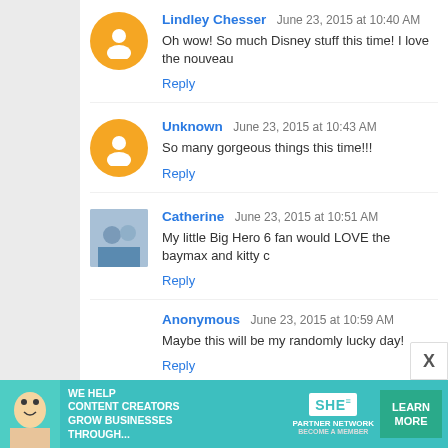Lindley Chesser  June 23, 2015 at 10:40 AM
Oh wow! So much Disney stuff this time! I love the nouveau
Reply
Unknown  June 23, 2015 at 10:43 AM
So many gorgeous things this time!!!
Reply
Catherine  June 23, 2015 at 10:51 AM
My little Big Hero 6 fan would LOVE the baymax and kitty c
Reply
Anonymous  June 23, 2015 at 10:59 AM
Maybe this will be my randomly lucky day!
Reply
J, S, and M  June 23, 2015 at 11:03 AM
[Figure (infographic): SHE Media Partner Network advertisement banner: We help content creators grow businesses through... Learn More button]